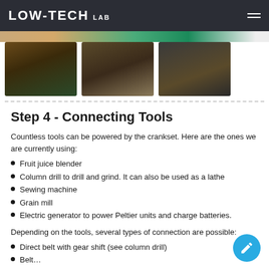LOW-TECH LAB
[Figure (photo): Three thumbnail photos of workshop/tool setup with bicycle-powered workbench]
Step 4 - Connecting Tools
Countless tools can be powered by the crankset. Here are the ones we are currently using:
Fruit juice blender
Column drill to drill and grind. It can also be used as a lathe
Sewing machine
Grain mill
Electric generator to power Peltier units and charge batteries.
Depending on the tools, several types of connection are possible:
Direct belt with gear shift (see column drill)